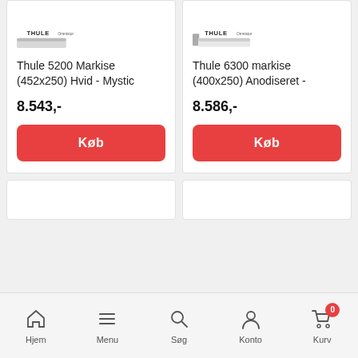[Figure (screenshot): Product card: Thule 5200 Markise (452x250) Hvid - Mystic, price 8.543,-, with Køb button]
[Figure (screenshot): Product card: Thule 6300 markise (400x250) Anodiseret -, price 8.586,-, with Køb button]
[Figure (screenshot): Bottom navigation bar with Hjem, Menu, Søg, Konto, Kurv (0)]